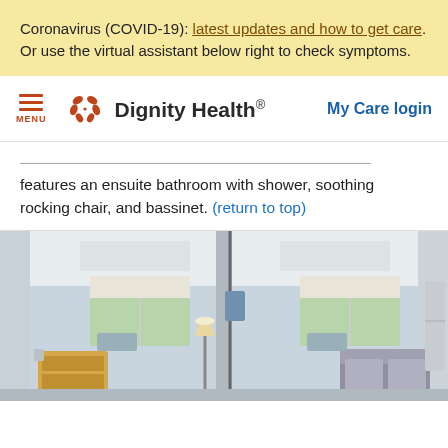Coronavirus (COVID-19): latest updates and how to get care. Or use the virtual assistant below right to check symptoms.
[Figure (logo): Dignity Health logo with hamburger menu and My Care login link]
features an ensuite bathroom with shower, soothing rocking chair, and bassinet. (return to top)
[Figure (photo): Hospital room photo showing two sides of a maternity suite with windows, bassinet, rocking chair, medical equipment, and lamp]